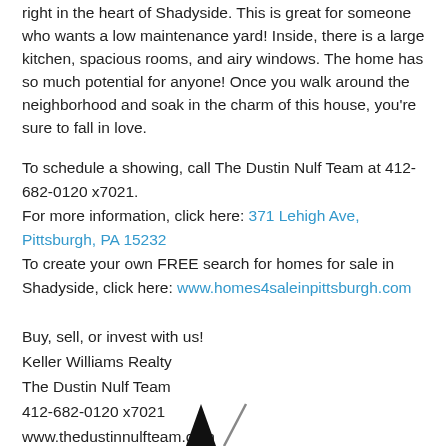right in the heart of Shadyside. This is great for someone who wants a low maintenance yard! Inside, there is a large kitchen, spacious rooms, and airy windows. The home has so much potential for anyone! Once you walk around the neighborhood and soak in the charm of this house, you're sure to fall in love.
To schedule a showing, call The Dustin Nulf Team at 412-682-0120 x7021.
For more information, click here: 371 Lehigh Ave, Pittsburgh, PA 15232
To create your own FREE search for homes for sale in Shadyside, click here: www.homes4saleinpittsburgh.com
Buy, sell, or invest with us!
Keller Williams Realty
The Dustin Nulf Team
412-682-0120 x7021
www.thedustinnulfteam.com
[Figure (logo): Partial logo or signature graphic at the bottom center of the page]